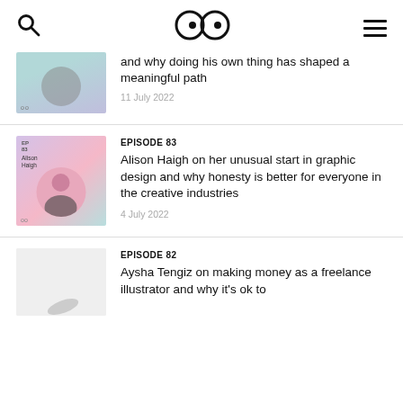Search | Logo | Menu
[Figure (illustration): Partially visible episode card with a person photo on teal/purple background, logo icon at bottom left]
and why doing his own thing has shaped a meaningful path
11 July 2022
EPISODE 83
Alison Haigh on her unusual start in graphic design and why honesty is better for everyone in the creative industries
4 July 2022
EPISODE 82
Aysha Tengiz on making money as a freelance illustrator and why it's ok to